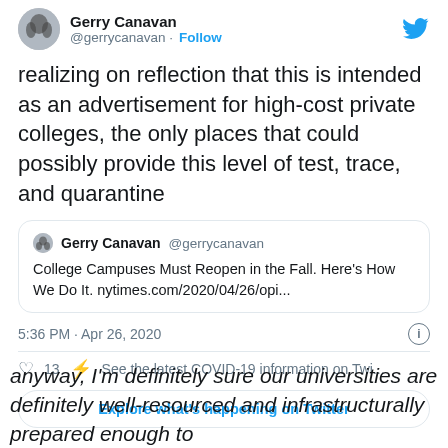[Figure (screenshot): Twitter screenshot of a tweet by Gerry Canavan (@gerrycanavan) saying 'realizing on reflection that this is intended as an advertisement for high-cost private colleges, the only places that could possibly provide this level of test, trace, and quarantine', with a quoted tweet referencing 'College Campuses Must Reopen in the Fall. Here's How We Do It. nytimes.com/2020/04/26/opi...', timestamp 5:36 PM · Apr 26, 2020, 13 likes, COVID-19 info link, and Explore what's happening on Twitter button.]
anyway, I'm definitely sure our universities are definitely well-resourced and infrastructurally prepared enough to